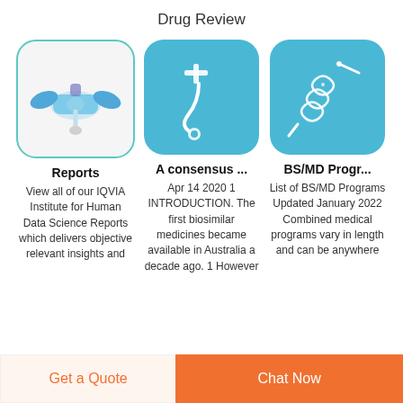Drug Review
[Figure (photo): Medical device - blue butterfly IV catheter/connector on white background]
[Figure (photo): Medical device - catheter or tube with connector on blue background]
[Figure (photo): Medical device - suture or surgical thread with needle on blue background]
Reports
View all of our IQVIA Institute for Human Data Science Reports which delivers objective relevant insights and
A consensus ...
Apr 14 2020  1 INTRODUCTION. The first biosimilar medicines became available in Australia a decade ago. 1 However
BS/MD Progr...
List of BS/MD Programs Updated January 2022 Combined medical programs vary in length and can be anywhere from six to eight
Get a Quote   Chat Now